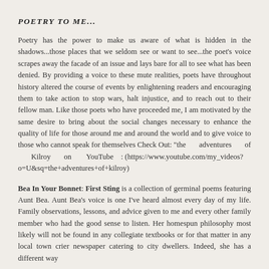POETRY TO ME...
Poetry has the power to make us aware of what is hidden in the shadows...those places that we seldom see or want to see...the poet's voice scrapes away the facade of an issue and lays bare for all to see what has been denied. By providing a voice to these mute realities, poets have throughout history altered the course of events by enlightening readers and encouraging them to take action to stop wars, halt injustice, and to reach out to their fellow man. Like those poets who have proceeded me, I am motivated by the same desire to bring about the social changes necessary to enhance the quality of life for those around me and around the world and to give voice to those who cannot speak for themselves Check Out: "the adventures of Kilroy on YouTube : (https://www.youtube.com/my_videos?o=U&sq=the+adventures+of+kilroy)
Bea In Your Bonnet: First Sting is a collection of germinal poems featuring Aunt Bea. Aunt Bea's voice is one I've heard almost every day of my life. Family observations, lessons, and advice given to me and every other family member who had the good sense to listen. Her homespun philosophy most likely will not be found in any collegiate textbooks or for that matter in any local town crier newspaper catering to city dwellers. Indeed, she has a different way